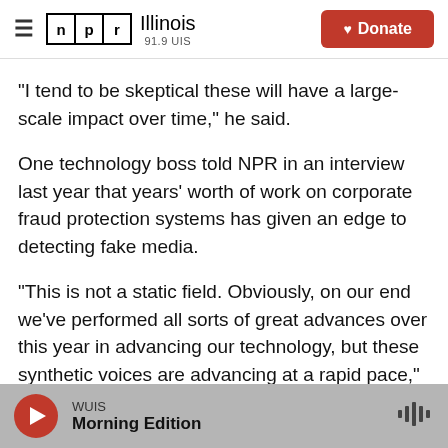NPR Illinois 91.9 UIS — Donate
"I tend to be skeptical these will have a large-scale impact over time," he said.
One technology boss told NPR in an interview last year that years' worth of work on corporate fraud protection systems has given an edge to detecting fake media.
"This is not a static field. Obviously, on our end we've performed all sorts of great advances over this year in advancing our technology, but these synthetic voices are advancing at a rapid pace," said Brett Beranek, head of security business for
WUIS — Morning Edition